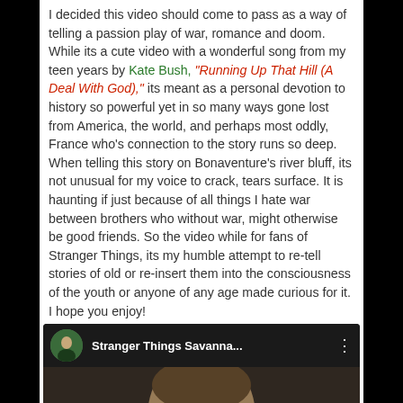I decided this video should come to pass as a way of telling a passion play of war, romance and doom. While its a cute video with a wonderful song from my teen years by Kate Bush, "Running Up That Hill (A Deal With God)," its meant as a personal devotion to history so powerful yet in so many ways gone lost from America, the world, and perhaps most oddly, France who's connection to the story runs so deep. When telling this story on Bonaventure's river bluff, its not unusual for my voice to crack, tears surface. It is haunting if just because of all things I hate war between brothers who without war, might otherwise be good friends. So the video while for fans of Stranger Things, its my humble attempt to re-tell stories of old or re-insert them into the consciousness of the youth or anyone of any age made curious for it. I hope you enjoy!
[Figure (screenshot): YouTube video thumbnail showing 'Stranger Things Savanna...' with a circular avatar of a person outdoors, a portrait of a historical figure in the background, and a play button overlay.]